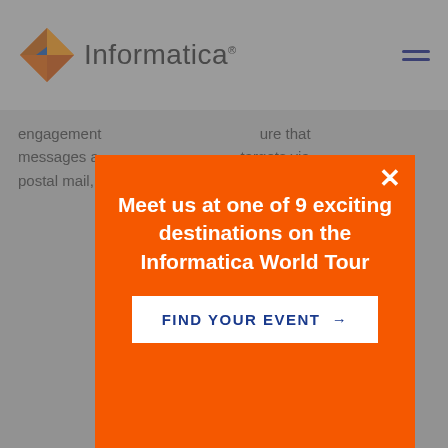Informatica
engagement ... ure that messages a... targets via postal mail,
[Figure (infographic): Orange modal popup with close button (X), headline 'Meet us at one of 9 exciting destinations on the Informatica World Tour', and a 'FIND YOUR EVENT →' button on white background]
Contact Data Verification
For Informatica, Data as a Service begins with data that you can rely on. Without trusted, relevant, and authoritative data,